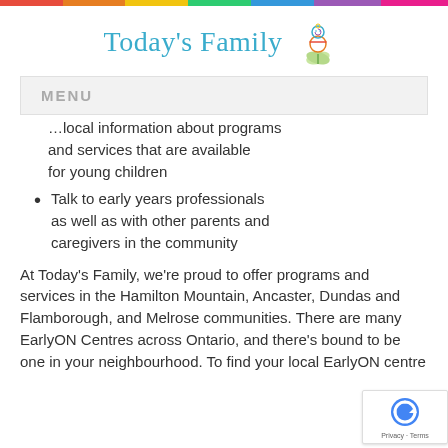Today's Family
MENU
…local information about programs and services that are available for young children
Talk to early years professionals as well as with other parents and caregivers in the community
At Today's Family, we're proud to offer programs and services in the Hamilton Mountain, Ancaster, Dundas and Flamborough, and Melrose communities. There are many EarlyON Centres across Ontario, and there's bound to be one in your neighbourhood. To find your local EarlyON centre